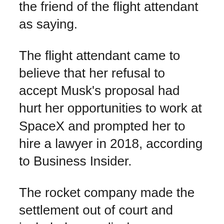the friend of the flight attendant as saying.
The flight attendant came to believe that her refusal to accept Musk's proposal had hurt her opportunities to work at SpaceX and prompted her to hire a lawyer in 2018, according to Business Insider.
The rocket company made the settlement out of court and included a nondisclosure agreement which prevented the flight attendant from speaking about it, Business Insider said. The news site did not name the friend or the flight attendant.
Musk, who is also chief executive of Tesla and is in the midst of a contentious effort to buy Twitter, said on Wednesday that he would vote